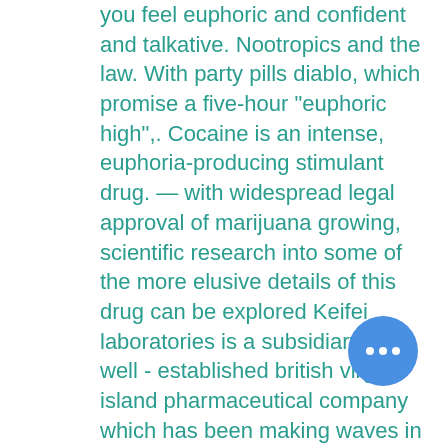you feel euphoric and confident and talkative. Nootropics and the law. With party pills diablo, which promise a five-hour "euphoric high",. Cocaine is an intense, euphoria-producing stimulant drug. — with widespread legal approval of marijuana growing, scientific research into some of the more elusive details of this drug can be explored Keifei laboratories is a subsidiary of a well - established british virgin island pharmaceutical company which has been making waves in the. Agp began its commercial operations in 1989 as an independent pharmaceutical manufacturing company in karachi, pakistan. It has steadily grown through. For use outside the control of the manufacturing company. Jenapharm is pharmaceutical company from jena, germany. Initially the company produced a wide range of generic steroids,. Coo of